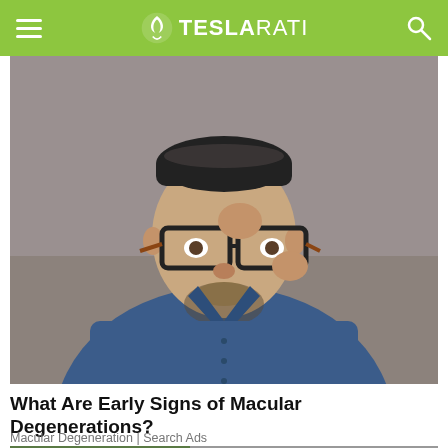TESLARATI
[Figure (photo): Man adjusting glasses with one hand and pointing to his eye with the other, wearing a blue denim shirt, on a gray background]
What Are Early Signs of Macular Degenerations?
Macular Degeneration | Search Ads
[Figure (photo): Aerial view of a parking lot with many cars, with green vegetation and railway tracks visible on the left side]